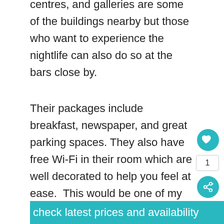centres, and galleries are some of the buildings nearby but those who want to experience the nightlife can also do so at the bars close by.
Their packages include breakfast, newspaper, and great parking spaces. They also have free Wi-Fi in their room which are well decorated to help you feel at ease.  This would be one of my top picks for luxury Auckland accommodation!
check latest prices and availability